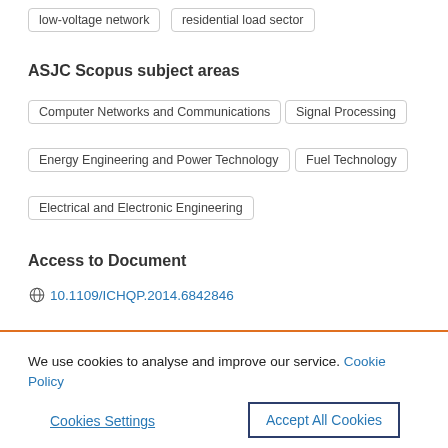low-voltage network
residential load sector
ASJC Scopus subject areas
Computer Networks and Communications
Signal Processing
Energy Engineering and Power Technology
Fuel Technology
Electrical and Electronic Engineering
Access to Document
10.1109/ICHQP.2014.6842846
We use cookies to analyse and improve our service. Cookie Policy
Cookies Settings
Accept All Cookies